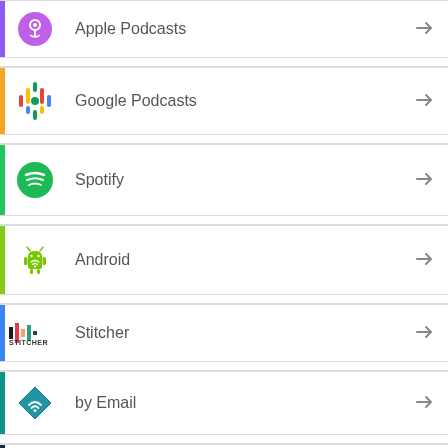Apple Podcasts
Google Podcasts
Spotify
Android
Stitcher
by Email
TuneIn
RSS